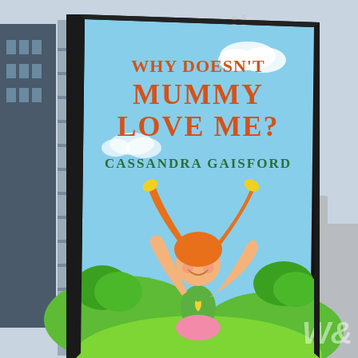[Figure (photo): Outdoor urban scene with a large vertical billboard mounted on a metal pole structure, against a blue sky with buildings visible. The billboard displays the book cover of 'Why Doesn't Mummy Love Me?' by Cassandra Gaisford, featuring a cartoon girl with orange pigtails, arms raised, wearing a green top and pink skirt, standing on a green grassy landscape.]